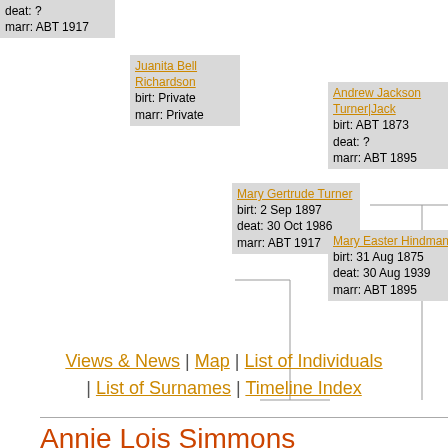[Figure (other): Genealogy family tree diagram showing person boxes with birth, death, marriage dates connected by lines. Persons: Juanita Bell Richardson (birt: Private, marr: Private), Mary Gertrude Turner (birt: 2 Sep 1897, deat: 30 Oct 1986, marr: ABT 1917), Andrew Jackson Turner|Jack (birt: ABT 1873, deat: ?, marr: ABT 1895), Mary Easter Hindman (birt: 31 Aug 1875, deat: 30 Aug 1939, marr: ABT 1895). Also partial top entry: deat: ?, marr: ABT 1917.]
Views & News | Map | List of Individuals | List of Surnames | Timeline Index
Annie Lois Simmons